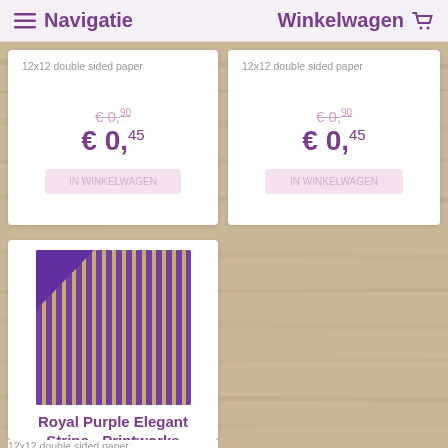Navigatie   Winkelwagen
12x12 double sided paper
€ 0,90
€ 0,45
12x12 double sided paper
€ 0,90
€ 0,45
[Figure (photo): Purple and gold vertical striped double-sided paper with purple corner fold visible]
Royal Purple Elegant Stripe - Printworks
12x12 double sided paper